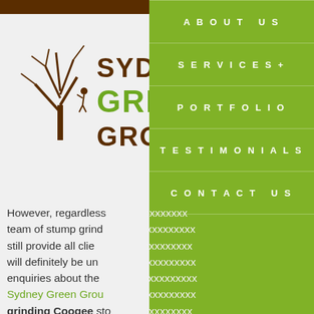[Figure (logo): Sydney Green Group logo with tree silhouette and person climbing, brown and green text]
ABOUT US
SERVICES+
PORTFOLIO
TESTIMONIALS
CONTACT US
However, regardless team of stump grinding still provide all clients will definitely be unmatched enquiries about the Sydney Green Group grinding Coogee stump no obligation quote free to contact Sydney 990. Alternatively, you and a member of our For Other Tree Services